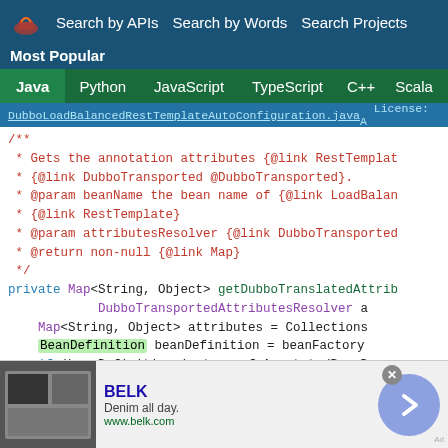Search by APIs   Search by Words   Search Projects
Most Popular
Java  Python  JavaScript  TypeScript  C++  Scala
DubboLoadBalancedRestTemplateAutoConfiguration.java   License: A
/**
 * Gets the annotation attributes {@link RestTemplat
 * {@link DubboTransported @DubboTransported}.
 * @param beanName the bean name of {@link LoadBalan
 * {@link RestTemplate}
 * @param attributesResolver {@link DubboTransported
 * @return non-null {@link Map}
 */
private Map<String, Object> getDubboTranslatedAttrib
        DubboTransportedAttributesResolver a
    Map<String, Object> attributes = Collections
    BeanDefinition beanDefinition = beanFactory
    if (beanDefinition instanceof AnnotatedBeanD
[Figure (screenshot): Advertisement banner for BELK: Denim all day. www.belk.com]